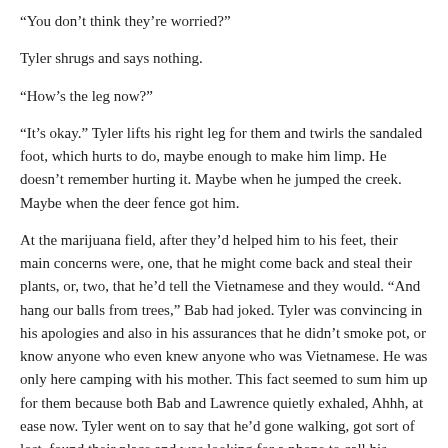“You don’t think they’re worried?”
Tyler shrugs and says nothing.
“How’s the leg now?”
“It’s okay.” Tyler lifts his right leg for them and twirls the sandaled foot, which hurts to do, maybe enough to make him limp. He doesn’t remember hurting it. Maybe when he jumped the creek. Maybe when the deer fence got him.
At the marijuana field, after they’d helped him to his feet, their main concerns were, one, that he might come back and steal their plants, or, two, that he’d tell the Vietnamese and they would. “And hang our balls from trees,” Bab had joked. Tyler was convincing in his apologies and also in his assurances that he didn’t smoke pot, or know anyone who even knew anyone who was Vietnamese. He was only here camping with his mother. This fact seemed to sum him up for them because both Bab and Lawrence quietly exhaled, Ahhh, at ease now. Tyler went on to say that he’d gone walking, got sort of lost, found their place and was looking for a phone to call his mother’s cell. Both men said Ahhh again, and they didn’t seem angry any more.
Getting to their cabin, putting a warm beer in his hand, Lawrence had